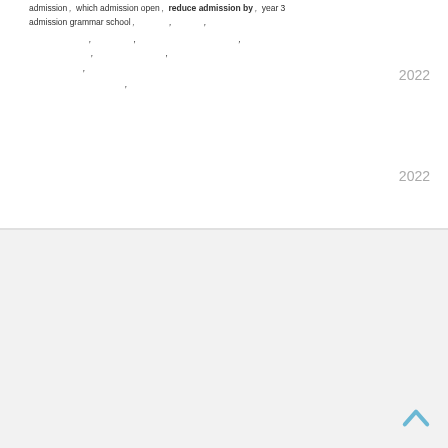admission, which admission open, reduce admission by, year 3 admission grammar school, , , , , , , , , 2022 , , , , , , 2022
[Figure (other): Back to top arrow icon (chevron up) in light blue color at bottom right of page]